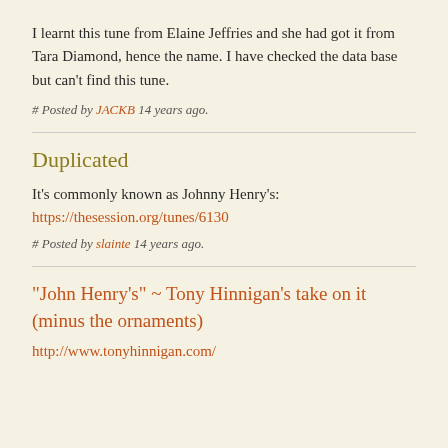I learnt this tune from Elaine Jeffries and she had got it from Tara Diamond, hence the name. I have checked the data base but can't find this tune.
# Posted by JACKB 14 years ago.
Duplicated
It's commonly known as Johnny Henry's:
https://thesession.org/tunes/6130
# Posted by slainte 14 years ago.
"John Henry's" ~ Tony Hinnigan's take on it (minus the ornaments)
http://www.tonyhinnigan.com/